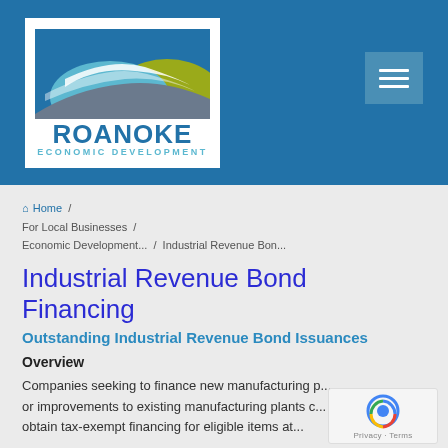[Figure (logo): Roanoke Economic Development logo with stylized road/hills graphic in blue, teal, and olive/yellow-green colors, text ROANOKE ECONOMIC DEVELOPMENT]
Home / For Local Businesses / Economic Development... / Industrial Revenue Bon...
Industrial Revenue Bond Financing
Outstanding Industrial Revenue Bond Issuances
Overview
Companies seeking to finance new manufacturing p... or improvements to existing manufacturing plants c... obtain tax-exempt financing for eligible items at...